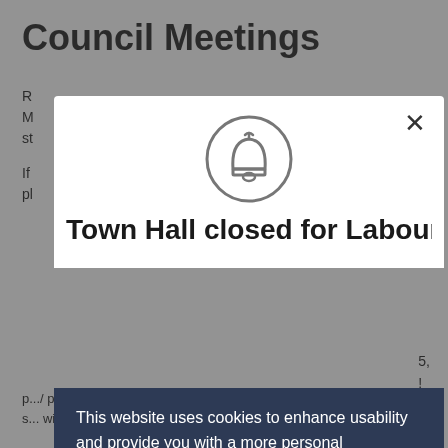Council Meetings
R... M... st...
If... pl...
[Figure (screenshot): A notification/alert modal dialog with a bell icon inside a circle and a close (X) button in the top right. Below it shows partial text 'Town Hall closed for Labour...']
This website uses cookies to enhance usability and provide you with a more personal experience. By using this website, you agree to our use of cookies as explained in our Privacy Policy.
Agree